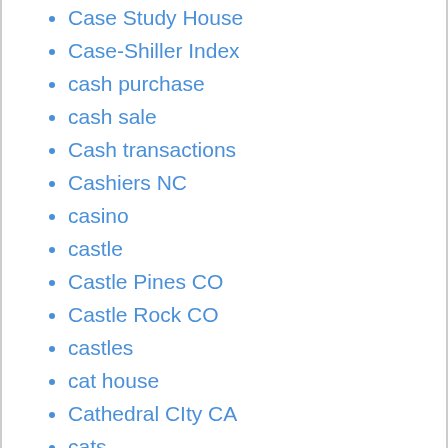Case Study House
Case-Shiller Index
cash purchase
cash sale
Cash transactions
Cashiers NC
casino
castle
Castle Pines CO
Castle Rock CO
castles
cat house
Cathedral CIty CA
cats
catskills
cattle
cave
Cave House
Caye Caulker Belize